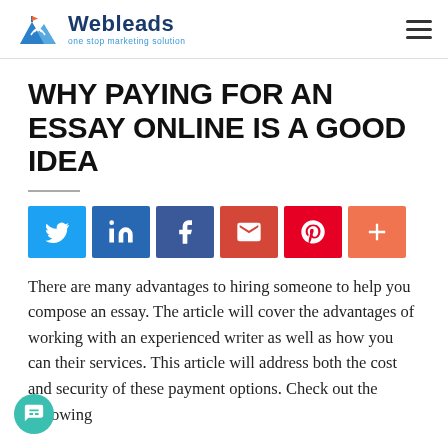[Figure (logo): Webleads logo with mountain/wifi icon and tagline 'one stop marketing solution']
WHY PAYING FOR AN ESSAY ONLINE IS A GOOD IDEA
[Figure (infographic): Social sharing buttons: Twitter, LinkedIn, Facebook, Gmail, Pinterest, More (+)]
There are many advantages to hiring someone to help you compose an essay. The article will cover the advantages of working with an experienced writer as well as how you can their services. This article will address both the cost and security of these payment options. Check out the following